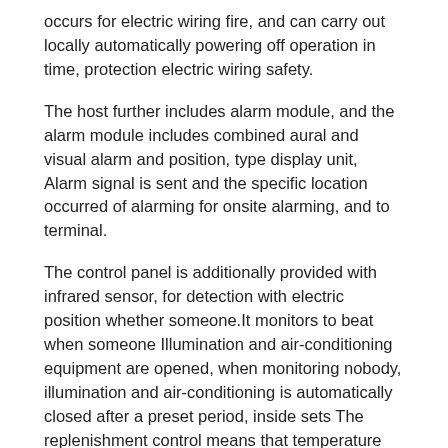occurs for electric wiring fire, and can carry out locally automatically powering off operation in time, protection electric wiring safety.
The host further includes alarm module, and the alarm module includes combined aural and visual alarm and position, type display unit, Alarm signal is sent and the specific location occurred of alarming for onsite alarming, and to terminal.
The control panel is additionally provided with infrared sensor, for detection with electric position whether someone.It monitors to beat when someone Illumination and air-conditioning equipment are opened, when monitoring nobody, illumination and air-conditioning is automatically closed after a preset period, inside sets The replenishment control means that temperature collecting module can also be controlled as room temperature, it is automatic to disconnect sky when reaching preset temperature The power supply for adjusting equipment, reduces the waste of electric power.It is also convenient for collecting the overtime of clerk or in office simultaneously Working time.